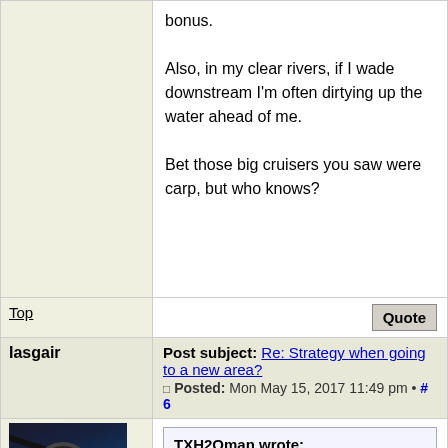bonus.
Also, in my clear rivers, if I wade downstream I'm often dirtying up the water ahead of me.
Bet those big cruisers you saw were carp, but who knows?
Top
Quote
Post subject: Re: Strategy when going to a new area?
Posted: Mon May 15, 2017 11:49 pm • # 6
Iasgair
[Figure (photo): Photo of a fly fishing reel and rod against a sunset sky with orange and blue tones]
Full Member
TXH2Oman wrote:
I have found that wading upstream, vs. down, is always a good idea. Most ambush predators (e.g., bass)